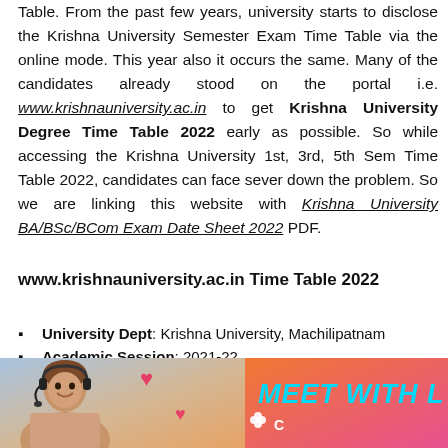Table. From the past few years, university starts to disclose the Krishna University Semester Exam Time Table via the online mode. This year also it occurs the same. Many of the candidates already stood on the portal i.e. www.krishnauniversity.ac.in to get Krishna University Degree Time Table 2022 early as possible. So while accessing the Krishna University 1st, 3rd, 5th Sem Time Table 2022, candidates can face sever down the problem. So we are linking this website with Krishna University BA/BSc/BCom Exam Date Sheet 2022 PDF.
www.krishnauniversity.ac.in Time Table 2022
University Dept: Krishna University, Machilipatnam
Academic Session: 2021-22
[Figure (photo): Advertisement banner showing a woman with headset smiling, with hearts, orange-pink gradient background, text 'MEET WITH L' in cyan bold italic, and a logo mark at bottom right]